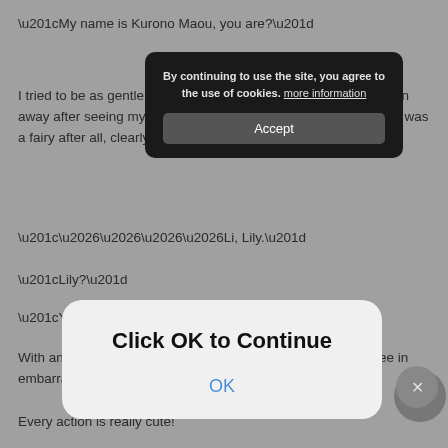“My name is Kurono Maou, you are?”
I tried to be as gentle as possible but normally the child would run away after seeing my villainous face at his timing. But, Ms. Fairy was a fairy after all, clearly ar…
“………Li, Lily.”
“Lily?”
“Yes.”
With another small nod, she hid half of her face behind the tree in embarrassment.
Every action is really cute!
“So, Lily do you know where this is?”
“This is Fairy Garden, a place where fairies live.”
A forest where fairies live, I see.
[Figure (screenshot): Cookie consent banner (dark background, rounded rectangle) with text 'By continuing to use the site, you agree to the use of cookies. more information' and an 'Accept' button.]
[Figure (screenshot): Browser alert modal (light gray rounded rectangle) with bold text 'Click OK to Continue' and a blue 'OK' link/button.]